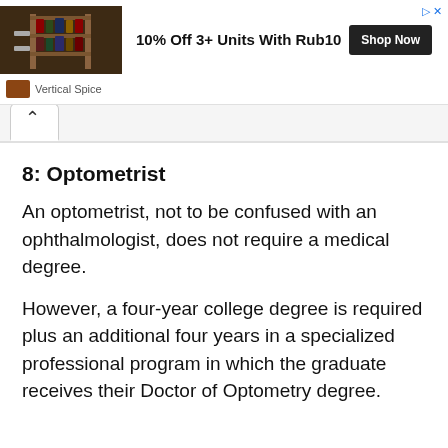[Figure (other): Advertisement banner for Vertical Spice showing spice rack products with text '10% Off 3+ Units With Rub10' and a 'Shop Now' button]
8: Optometrist
An optometrist, not to be confused with an ophthalmologist, does not require a medical degree.
However, a four-year college degree is required plus an additional four years in a specialized professional program in which the graduate receives their Doctor of Optometry degree.